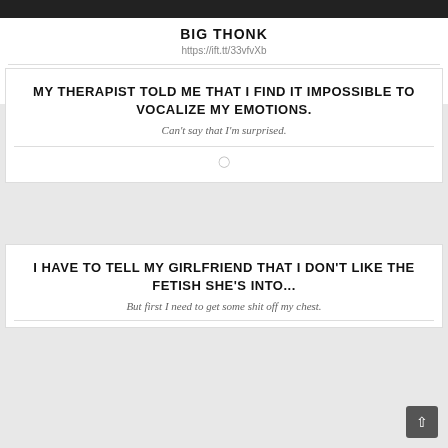[Figure (photo): Dark banner image at top of page]
BIG THONK
https://ift.tt/33vfvXb
MY THERAPIST TOLD ME THAT I FIND IT IMPOSSIBLE TO VOCALIZE MY EMOTIONS.
Can't say that I'm surprised.
I HAVE TO TELL MY GIRLFRIEND THAT I DON'T LIKE THE FETISH SHE'S INTO...
But first I need to get some shit off my chest.